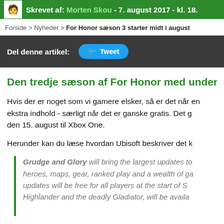Skrevet af: Morten Skou - 7. august 2017 - kl. 18.
Forside > Nyheder > For Honor sæson 3 starter midt i august
Del denne artikel: Tweet
Den tredje sæson af For Honor med undertitl
Hvis der er noget som vi gamere elsker, så er det når en ekstra indhold - særligt når det er ganske gratis. Det g den 15. august til Xbox One.
Herunder kan du læse hvordan Ubisoft beskriver det k
Grudge and Glory will bring the largest updates to heroes, maps, gear, ranked play and a wealth of ga updates will be free for all players at the start of S Highlander and the deadly Gladiator, will be availa